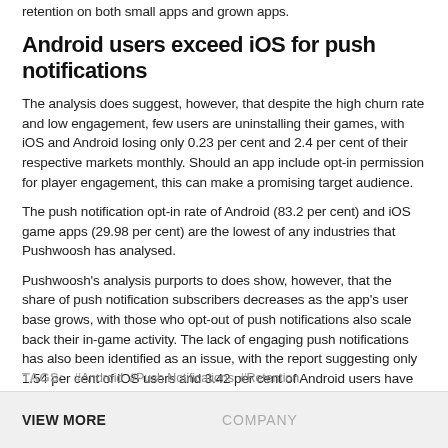retention on both small apps and grown apps.
Android users exceed iOS for push notifications
The analysis does suggest, however, that despite the high churn rate and low engagement, few users are uninstalling their games, with iOS and Android losing only 0.23 per cent and 2.4 per cent of their respective markets monthly. Should an app include opt-in permission for player engagement, this can make a promising target audience.
The push notification opt-in rate of Android (83.2 per cent) and iOS game apps (29.98 per cent) are the lowest of any industries that Pushwoosh has analysed.
Pushwoosh's analysis purports to does show, however, that the share of push notification subscribers decreases as the app's user base grows, with those who opt-out of push notifications also scale back their in-game activity. The lack of engaging push notifications has also been identified as an issue, with the report suggesting only 1.54 per cent of iOS users and 3.42 per cent of Android users have opened at least one push.
TAGS: #Android #Push Notifications #Retention
VIEW MORE    COMPANY